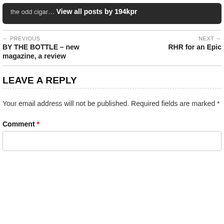the odd cigar… View all posts by 194kpr
← PREVIOUS
BY THE BOTTLE – new magazine, a review
NEXT →
RHR for an Epic
LEAVE A REPLY
Your email address will not be published. Required fields are marked *
Comment *